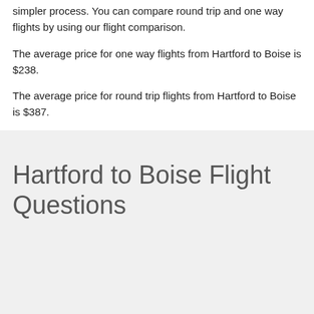simpler process. You can compare round trip and one way flights by using our flight comparison.
The average price for one way flights from Hartford to Boise is $238.
The average price for round trip flights from Hartford to Boise is $387.
Hartford to Boise Flight Questions